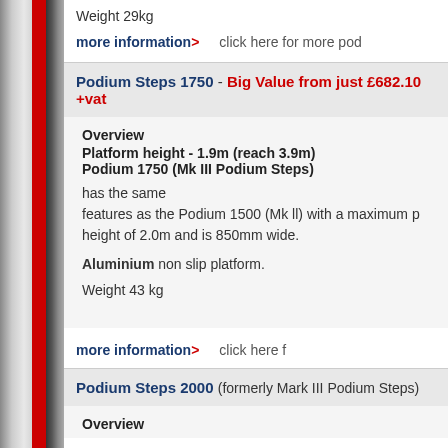Weight 29kg
more information> click here for more pod
Podium Steps 1750 - Big Value from just £682.10 +vat
Overview
Platform height - 1.9m (reach 3.9m)
Podium 1750 (Mk III Podium Steps)
has the same features as the Podium 1500 (Mk ll) with a maximum platform height of 2.0m and is 850mm wide.
Aluminium non slip platform.
Weight 43 kg
more information> click here f
Podium Steps 2000 (formerly Mark III Podium Steps)
Overview